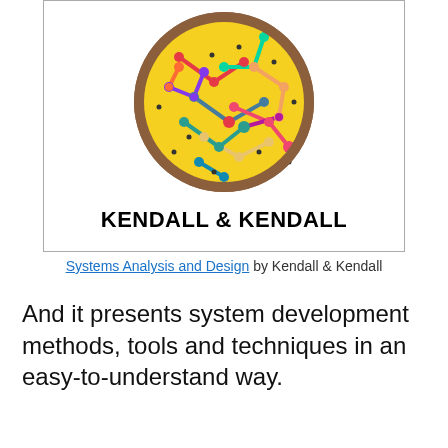[Figure (illustration): Book cover of 'Systems Analysis and Design' by Kendall & Kendall, showing a colorful network graph globe on a yellow background inside a bordered rectangle, with 'KENDALL & KENDALL' printed in bold below the globe.]
Systems Analysis and Design by Kendall & Kendall
And it presents system development methods, tools and techniques in an easy-to-understand way.